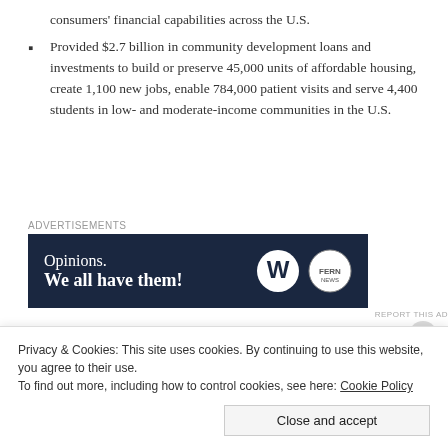consumers' financial capabilities across the U.S.
Provided $2.7 billion in community development loans and investments to build or preserve 45,000 units of affordable housing, create 1,100 new jobs, enable 784,000 patient visits and serve 4,400 students in low- and moderate-income communities in the U.S.
[Figure (other): Advertisement banner: 'Opinions. We all have them!' with WordPress and another logo on dark navy background. Label 'Advertisements' above.]
As for the report itself, JPMorgan is experimenting
Privacy & Cookies: This site uses cookies. By continuing to use this website, you agree to their use.
To find out more, including how to control cookies, see here: Cookie Policy
Close and accept